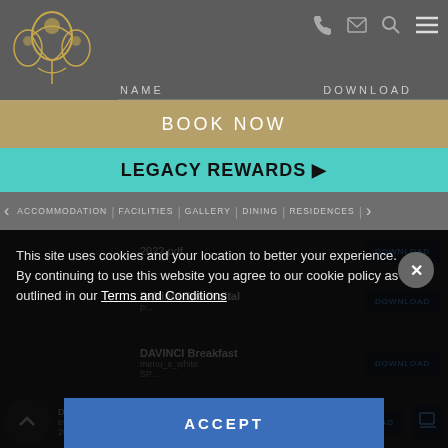[Figure (logo): DaVinci hotel/resort ornate logo in gold color]
NAME   DOWNLOAD
BOOK NOW
LEGACY REWARDS ▶
ACCOMMODATION | FACILITIES | GALLERY | DINING | RESIDENCES |
2022.pdf
DaVinci Spa Digital
DAVINCI Breakfast
menu_s_white
SP
DAVINCI_L
enu_Win
2022.pdf
This site uses cookies and your location to better your experience. By continuing to use this website you agree to our cookie policy as outlined in our Terms and Conditions
ACCEPT